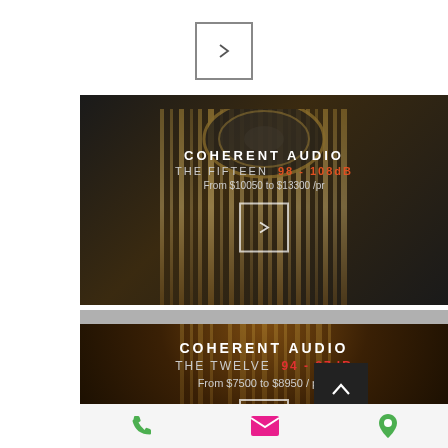[Figure (screenshot): Navigation arrow button (chevron right) in a square border outline]
[Figure (photo): Coherent Audio The Fifteen speaker product card with golden pipe organ-like speaker image on dark background]
COHERENT AUDIO
THE FIFTEEN  98 - 108dB
From $10050 to $13300 /pr
[Figure (photo): Coherent Audio The Twelve speaker product card with warm brown/amber gradient background]
COHERENT AUDIO
THE TWELVE  94 - 97dB
From $7500 to $8950 / pair
Phone | Email | Location icons